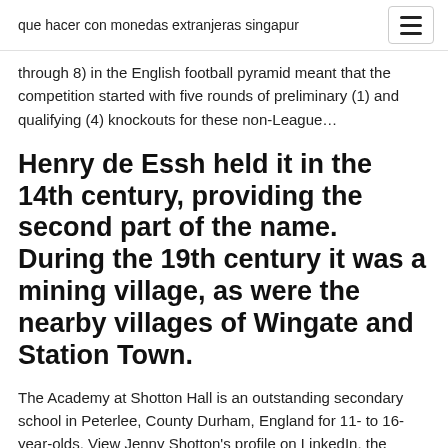que hacer con monedas extranjeras singapur
through 8) in the English football pyramid meant that the competition started with five rounds of preliminary (1) and qualifying (4) knockouts for these non-League…
Henry de Essh held it in the 14th century, providing the second part of the name. During the 19th century it was a mining village, as were the nearby villages of Wingate and Station Town.
The Academy at Shotton Hall is an outstanding secondary school in Peterlee, County Durham, England for 11- to 16-year-olds. View Jenny Shotton's profile on LinkedIn, the world's largest professional community. 1 School Smart…